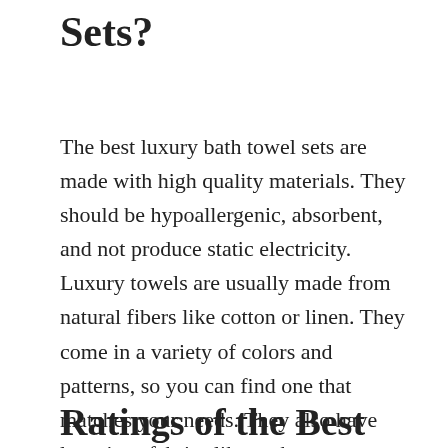Sets?
The best luxury bath towel sets are made with high quality materials. They should be hypoallergenic, absorbent, and not produce static electricity. Luxury towels are usually made from natural fibers like cotton or linen. They come in a variety of colors and patterns, so you can find one that matches your needs. They also have luxurious fabrics like cashmere or alpaca wool to make the towels soft and cozy.
Ratings of the Best